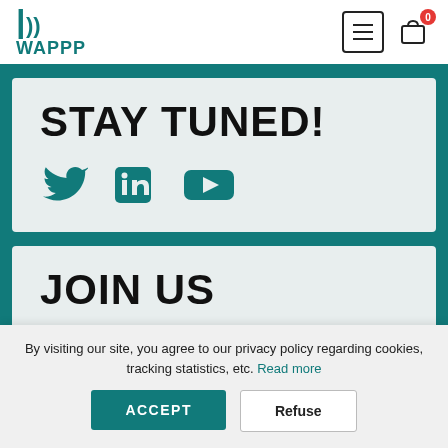WAPPP
STAY TUNED!
[Figure (illustration): Social media icons: Twitter bird, LinkedIn square, YouTube play button in teal color]
JOIN US
By visiting our site, you agree to our privacy policy regarding cookies, tracking statistics, etc. Read more
ACCEPT  Refuse